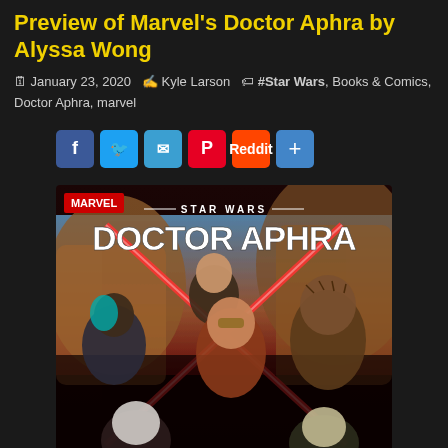Preview of Marvel's Doctor Aphra by Alyssa Wong
January 23, 2020  Kyle Larson  #Star Wars, Books & Comics, Doctor Aphra, marvel
[Figure (illustration): Star Wars Doctor Aphra Marvel comic book cover featuring multiple characters including Doctor Aphra in center with goggles, surrounded by other characters with lightsabers crossing in an X pattern]